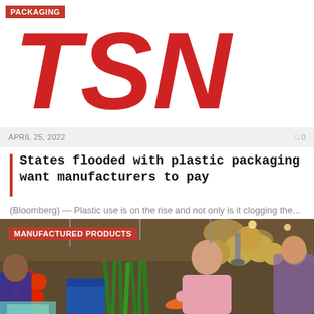[Figure (logo): TSN logo in red italics on white background with PACKAGING category label]
APRIL 25, 2022   0
States flooded with plastic packaging want manufacturers to pay
(Bloomberg) — Plastic use is on the rise and not only is it clogging the...
[Figure (photo): Outdoor vegetable market scene with an elderly bald man in pink shirt browsing produce including tomatoes, green onions, and melons with MANUFACTURED PRODUCTS label]